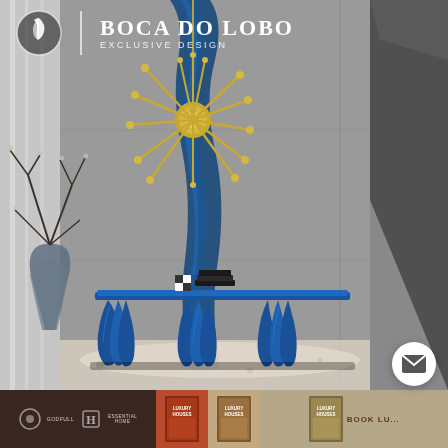[Figure (photo): Luxury interior scene showing a sculptural blue wave-form console table by Boca do Lobo, with a sputnik-style gold chandelier hanging above it, blue draped fabric panel on wall, decorative plant in vase, and light marble floor.]
[Figure (logo): Boca do Lobo Exclusive Design logo — circular emblem with feather/leaf icon on left, brand name in white serif uppercase letters, tagline 'exclusive design' in smaller spaced capitals]
[Figure (infographic): Bottom navigation bar with dark brown, rust, tan, and khaki segments showing: Godfull and Essential Home brand logos, three Luxury Houses book covers, and 'BOOK LU...' call-to-action text. Mail/chat button overlay bottom right.]